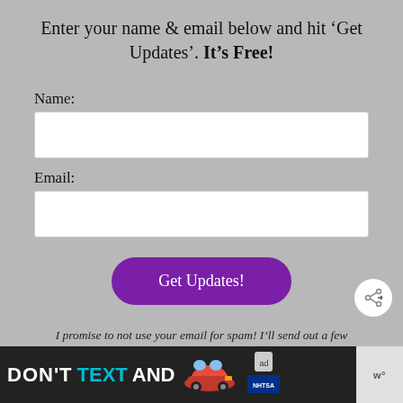Enter your name & email below and hit ‘Get Updates’. It’s Free!
Name:
Email:
[Figure (other): Purple rounded 'Get Updates!' button]
[Figure (other): White circular share icon button with share symbol]
I promise to not use your email for spam! I’ll send out a few emails a week and occasional promo emails too.
[Figure (other): Advertisement banner: DON'T TEXT AND with car image and NHTSA logo]